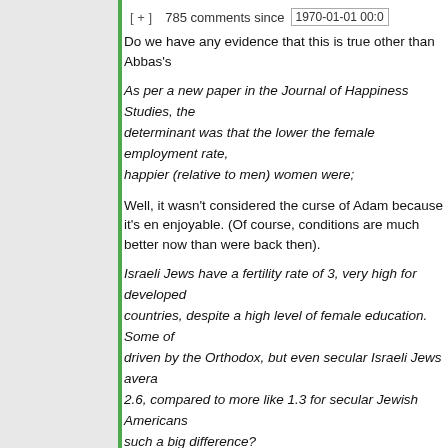[ + ]   785 comments since   1970-01-01 00:0
Do we have any evidence that this is true other than Abbas's
As per a new paper in the Journal of Happiness Studies, the determinant was that the lower the female employment rate, happier (relative to men) women were;
Well, it wasn't considered the curse of Adam because it's en enjoyable. (Of course, conditions are much better now than were back then).
Israeli Jews have a fertility rate of 3, very high for developed countries, despite a high level of female education. Some of driven by the Orthodox, but even secular Israeli Jews avera 2.6, compared to more like 1.3 for secular Jewish Americans such a big difference?
There's a joke about Jewish American princesses here, but figure it out.